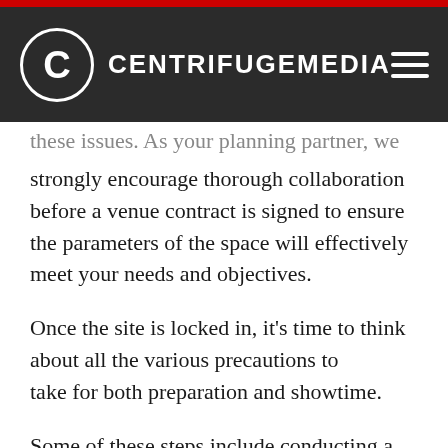CENTRIFUGEMEDIA
these issues. As your planning partner, we strongly encourage thorough collaboration before a venue contract is signed to ensure the parameters of the space will effectively meet your needs and objectives.
Once the site is locked in, it's time to think about all the various precautions to take for both preparation and showtime.
Some of these steps include conducting a pre-registration temperature check and